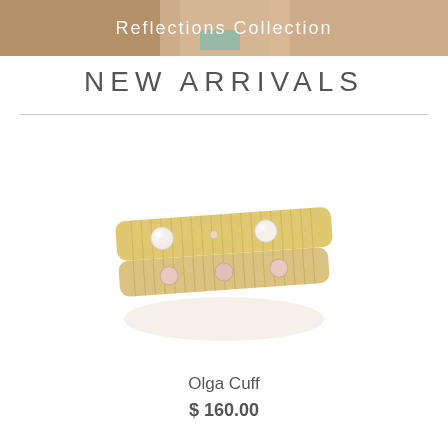[Figure (photo): Banner photo of a woman wearing jewelry with text 'Reflections Collection' overlaid in white]
NEW ARRIVALS
[Figure (photo): Product photo of the Olga Cuff — a gold-tone ribbed cuff bracelet with pearl and rose quartz embellishments, shown stacked in two layers on a white background]
Olga Cuff
$ 160.00